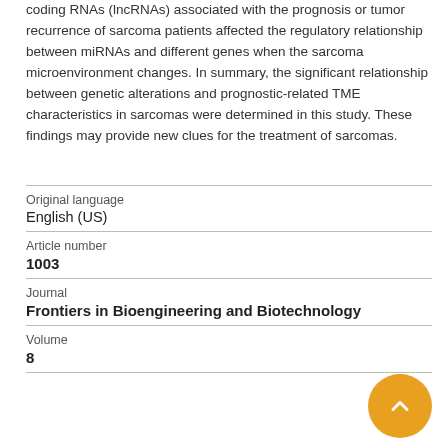coding RNAs (lncRNAs) associated with the prognosis or tumor recurrence of sarcoma patients affected the regulatory relationship between miRNAs and different genes when the sarcoma microenvironment changes. In summary, the significant relationship between genetic alterations and prognostic-related TME characteristics in sarcomas were determined in this study. These findings may provide new clues for the treatment of sarcomas.
| Field | Value |
| --- | --- |
| Original language | English (US) |
| Article number | 1003 |
| Journal | Frontiers in Bioengineering and Biotechnology |
| Volume | 8 |